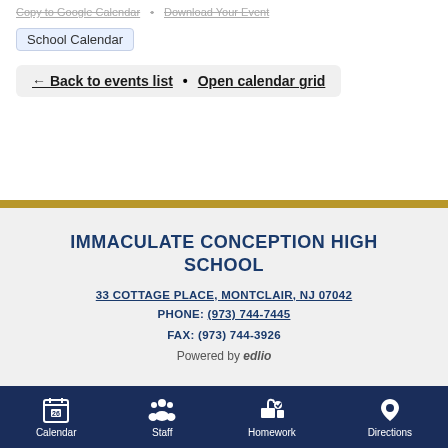Copy to Google Calendar • Download Your Event
School Calendar
← Back to events list • Open calendar grid
IMMACULATE CONCEPTION HIGH SCHOOL
33 COTTAGE PLACE, MONTCLAIR, NJ 07042
PHONE: (973) 744-7445
FAX: (973) 744-3926
Powered by edlio
Calendar  Staff  Homework  Directions